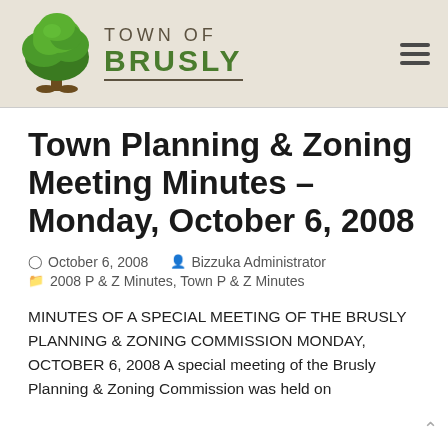TOWN OF BRUSLY
Town Planning & Zoning Meeting Minutes – Monday, October 6, 2008
October 6, 2008   Bizzuka Administrator
2008 P & Z Minutes, Town P & Z Minutes
MINUTES OF A SPECIAL MEETING OF THE BRUSLY PLANNING & ZONING COMMISSION MONDAY, OCTOBER 6, 2008 A special meeting of the Brusly Planning & Zoning Commission was held on